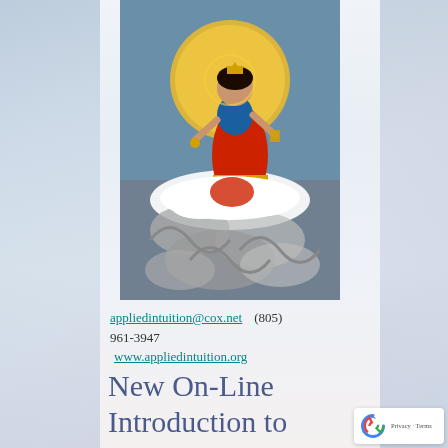[Figure (illustration): Hindu goddess (likely Saraswati or Durga) seated on a white swan/cloud amid ocean waves, wearing red dress, with a golden sun/halo behind her. Colorful devotional art painting.]
appliedintuition@cox.net    (805) 961-3947
www.appliedintuition.org
New On-Line Introduction to Clairvoyant Healing